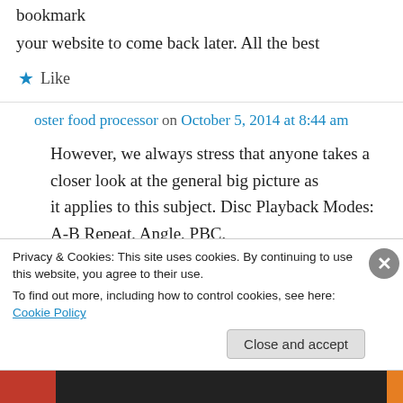bookmark
your website to come back later. All the best
★ Like
oster food processor on October 5, 2014 at 8:44 am
However, we always stress that anyone takes a closer look at the general big picture as it applies to this subject. Disc Playback Modes: A-B Repeat, Angle, PBC,
Slow Motion, Zoom, Disc Menu, Fast Backward
Privacy & Cookies: This site uses cookies. By continuing to use this website, you agree to their use.
To find out more, including how to control cookies, see here: Cookie Policy
Close and accept